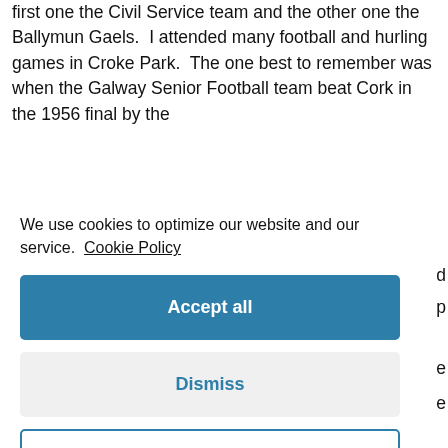first one the Civil Service team and the other one the Ballymun Gaels.  I attended many football and hurling games in Croke Park.  The one best to remember was when the Galway Senior Football team beat Cork in the 1956 final by the
We use cookies to optimize our website and our service.  Cookie Policy
Accept all
Dismiss
Preferences
I found Dublin to be a very good place for a young person to